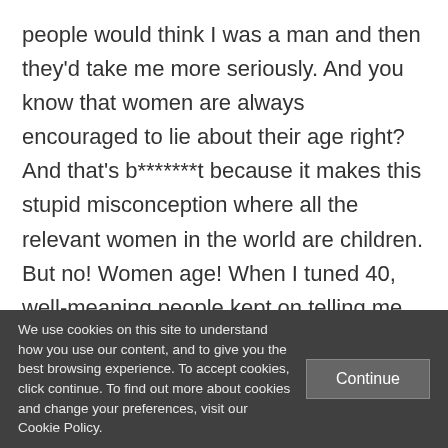people would think I was a man and then they'd take me more seriously. And you know that women are always encouraged to lie about their age right? And that's b*******t because it makes this stupid misconception where all the relevant women in the world are children. But no! Women age! When I tuned 40, well-meaning people kept on telling me 'oh, you don't look 40', but I do! I really do!
We use cookies on this site to understand how you use our content, and to give you the best browsing experience. To accept cookies, click continue. To find out more about cookies and change your preferences, visit our Cookie Policy.